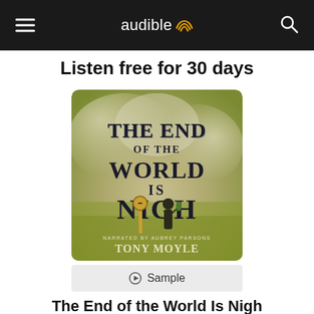audible
Listen free for 30 days
[Figure (illustration): Audiobook cover for 'The End of the World Is Nigh' by Tony Moyle, narrated by Aubrey Parsons. Dramatic cover with yellow-green smoky background, a figure holding items, and large dark text in an arched layout. Bottom text reads NARRATED BY AUBREY PARSONS / TONY MOYLE.]
▶ Sample
The End of the World Is Nigh